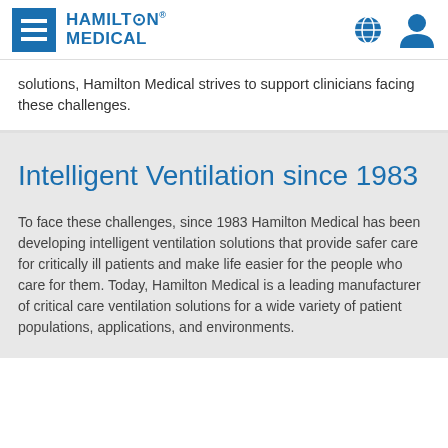[Figure (logo): Hamilton Medical logo with hamburger menu icon and globe/user icons in header]
solutions, Hamilton Medical strives to support clinicians facing these challenges.
Intelligent Ventilation since 1983
To face these challenges, since 1983 Hamilton Medical has been developing intelligent ventilation solutions that provide safer care for critically ill patients and make life easier for the people who care for them. Today, Hamilton Medical is a leading manufacturer of critical care ventilation solutions for a wide variety of patient populations, applications, and environments.